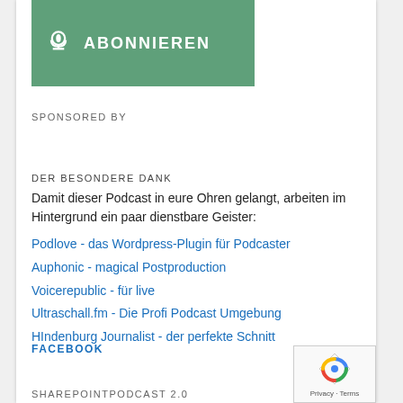[Figure (illustration): Green subscribe button with podcast icon and text ABONNIEREN on a dark header bar]
SPONSORED BY
DER BESONDERE DANK
Damit dieser Podcast in eure Ohren gelangt, arbeiten im Hintergrund ein paar dienstbare Geister:
Podlove - das Wordpress-Plugin für Podcaster
Auphonic - magical Postproduction
Voicerepublic - für live
Ultraschall.fm - Die Profi Podcast Umgebung
HIndenburg Journalist - der perfekte Schnitt
FACEBOOK
SHAREPOINTPODCAST 2.0